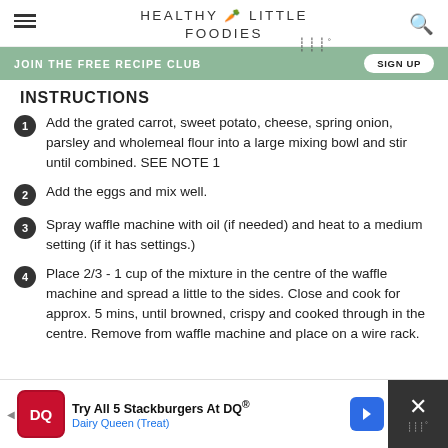HEALTHY LITTLE FOODIES
INSTRUCTIONS
Add the grated carrot, sweet potato, cheese, spring onion, parsley and wholemeal flour into a large mixing bowl and stir until combined. SEE NOTE 1
Add the eggs and mix well.
Spray waffle machine with oil (if needed) and heat to a medium setting (if it has settings.)
Place 2/3 - 1 cup of the mixture in the centre of the waffle machine and spread a little to the sides. Close and cook for approx. 5 mins, until browned, crispy and cooked through in the centre. Remove from waffle machine and place on a wire rack.
[Figure (other): Advertisement banner for Dairy Queen: Try All 5 Stackburgers At DQ, Dairy Queen (Treat)]